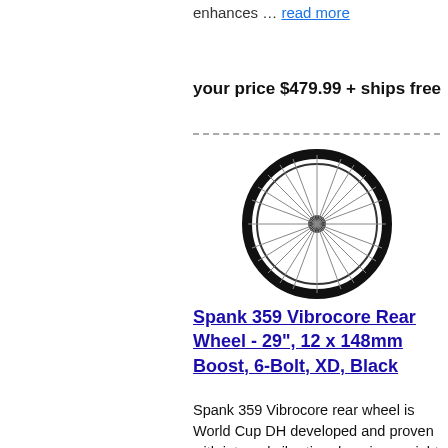enhances … read more
your price $479.99 + ships free
[Figure (photo): A Spank 359 Vibrocore rear bicycle wheel, black, showing spokes radiating from a central hub, viewed from the front.]
Spank 359 Vibrocore Rear Wheel - 29", 12 x 148mm Boost, 6-Bolt, XD, Black
Spank 359 Vibrocore rear wheel is World Cup DH developed and proven with internal vibration damping, weight optimized for race. Unique profile